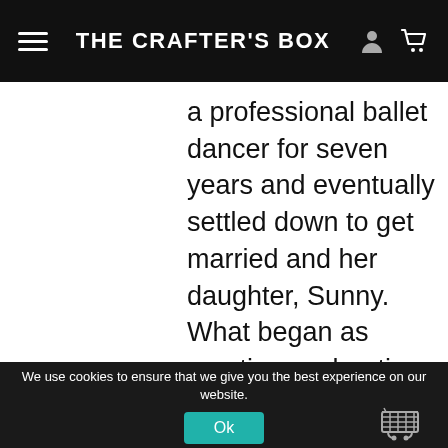THE CRAFTER'S BOX
a professional ballet dancer for seven years and eventually settled down to get married and her daughter, Sunny. What began as creative exploration turned into a blossoming full-time business. Today she
We use cookies to ensure that we give you the best experience on our website.